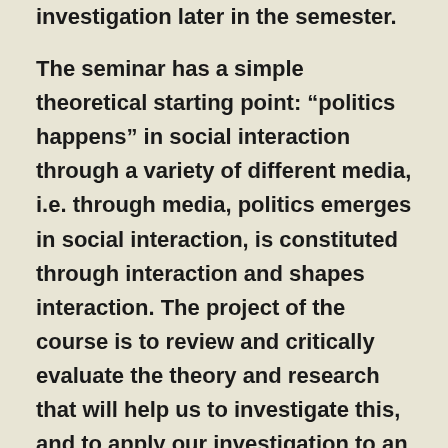investigation later in the semester.
The seminar has a simple theoretical starting point: “politics happens” in social interaction through a variety of different media, i.e. through media, politics emerges in social interaction, is constituted through interaction and shapes interaction. The project of the course is to review and critically evaluate the theory and research that will help us to investigate this, and to apply our investigation to an understanding of the political crises of our times, specifically to an understanding of the global development of a new form of authoritarianism and the opposition to it.